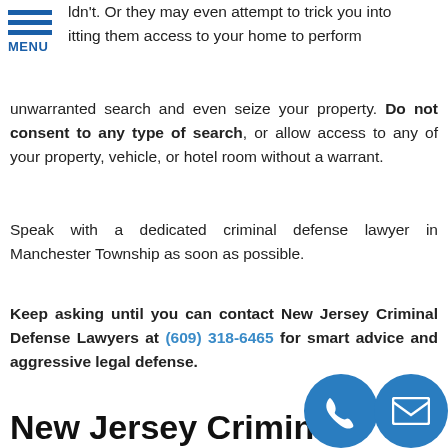[Figure (logo): Hamburger menu icon with three blue horizontal bars and MENU label below]
ldn't. Or they may even attempt to trick you into itting them access to your home to perform unwarranted search and even seize your property. Do not consent to any type of search, or allow access to any of your property, vehicle, or hotel room without a warrant.
Speak with a dedicated criminal defense lawyer in Manchester Township as soon as possible.
Keep asking until you can contact New Jersey Criminal Defense Lawyers at (609) 318-6465 for smart advice and aggressive legal defense.
New Jersey Criminal Defense Attorneys
New Jersey Criminal Defense Lawyers is your complete New Jersey criminal defense law firm, providing legal defense and support to those convicted a crime in Manchester Township. With proven results, dedicated of